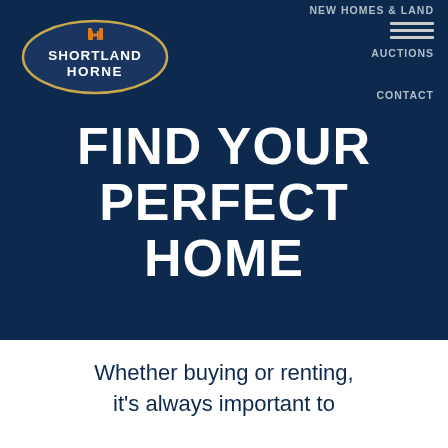[Figure (logo): Shortland Horne real estate agency logo in a dark blue oval with gold border. Contains an orange/gold 'H' icon above the text 'SHORTLAND HORNE' in white.]
NEW HOMES & LAND
AUCTIONS
CONTACT
FIND YOUR PERFECT HOME
Whether buying or renting, it's always important to